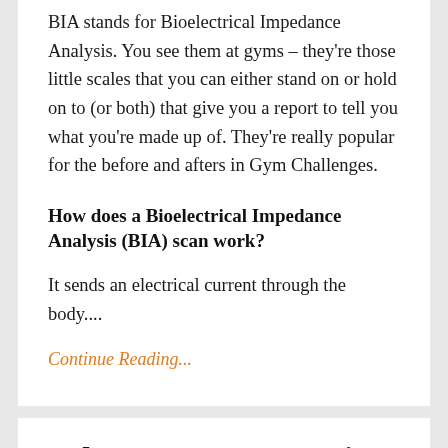BIA stands for Bioelectrical Impedance Analysis. You see them at gyms – they're those little scales that you can either stand on or hold on to (or both) that give you a report to tell you what you're made up of. They're really popular for the before and afters in Gym Challenges.
How does a Bioelectrical Impedance Analysis (BIA) scan work?
It sends an electrical current through the body....
Continue Reading...
Why You're Not Losing Weight